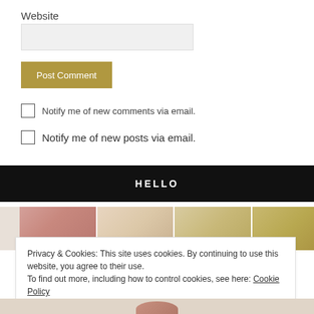Website
Post Comment
Notify me of new comments via email.
Notify me of new posts via email.
HELLO
[Figure (photo): Strip of four decorative photos showing dried grasses and natural textures]
Privacy & Cookies: This site uses cookies. By continuing to use this website, you agree to their use.
To find out more, including how to control cookies, see here: Cookie Policy
Close and accept
[Figure (photo): Partial photo at bottom showing person with red/auburn hair]